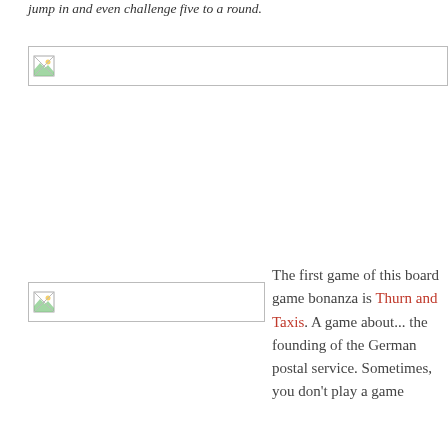jump in and even challenge five to a round.
[Figure (photo): Broken/missing image placeholder at top of page, wide rectangular region]
[Figure (photo): Broken/missing image placeholder on left side, medium rectangular region]
The first game of this board game bonanza is Thurn and Taxis. A game about... the founding of the German postal service. Sometimes, you don't play a game for its theme but...